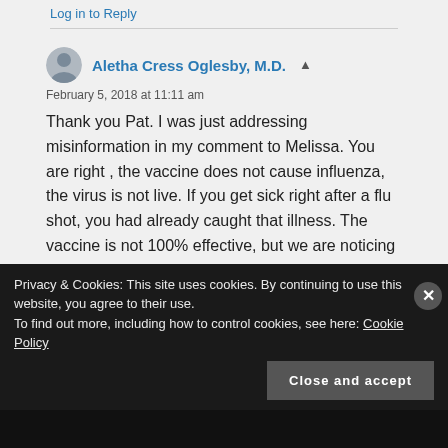Log in to Reply
Aletha Cress Oglesby, M.D.
February 5, 2018 at 11:11 am
Thank you Pat. I was just addressing misinformation in my comment to Melissa. You are right , the vaccine does not cause influenza, the virus is not live. If you get sick right after a flu shot, you had already caught that illness. The vaccine is not 100% effective, but we are noticing that when vaccinated people do get
Privacy & Cookies: This site uses cookies. By continuing to use this website, you agree to their use. To find out more, including how to control cookies, see here: Cookie Policy
Close and accept